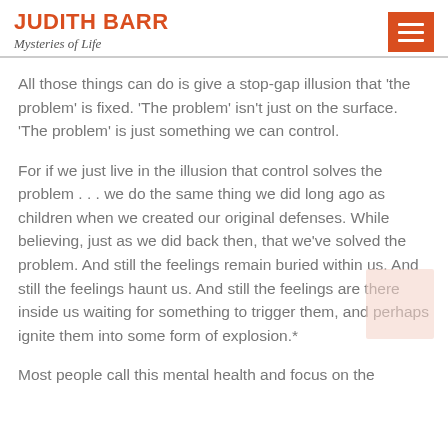JUDITH BARR
Mysteries of Life
All those things can do is give a stop-gap illusion that 'the problem' is fixed. 'The problem' isn't just on the surface. 'The problem' is just something we can control.
For if we just live in the illusion that control solves the problem . . . we do the same thing we did long ago as children when we created our original defenses. While believing, just as we did back then, that we've solved the problem. And still the feelings remain buried within us. And still the feelings haunt us. And still the feelings are there inside us waiting for something to trigger them, and perhaps ignite them into some form of explosion.*
Most people call this mental health and focus on the